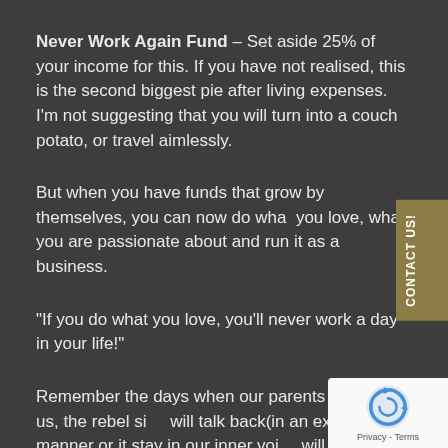Never Work Again Fund – Set aside 25% of your income for this. If you have not realised, this is the second biggest pie after living expenses. I'm not suggesting that you will turn into a couch potato, or travel aimlessly.
But when you have funds that grow by themselves, you can now do what you love, what you are passionate about and run it as a business.
“If you do what you love, you’ll never work a day in your life!”
Remember the days when our parents say no to us, the rebel side will talk back(in an expressive manner or it stay in our inner voice will sound like this). “When I grow up, I will do whatever I want, whenever